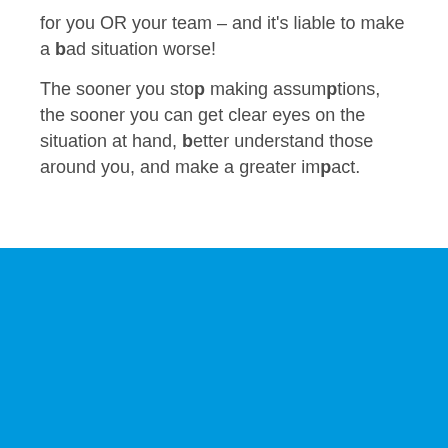for you OR your team – and it's liable to make a bad situation worse!

The sooner you stop making assumptions, the sooner you can get clear eyes on the situation at hand, better understand those around you, and make a greater impact.
[Figure (other): Solid bright blue rectangle filling the bottom half of the page]